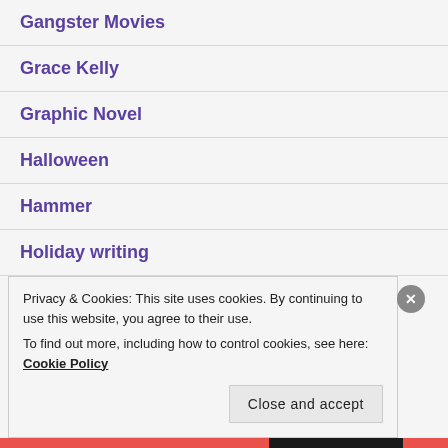Gangster Movies
Grace Kelly
Graphic Novel
Halloween
Hammer
Holiday writing
Privacy & Cookies: This site uses cookies. By continuing to use this website, you agree to their use.
To find out more, including how to control cookies, see here: Cookie Policy
Close and accept